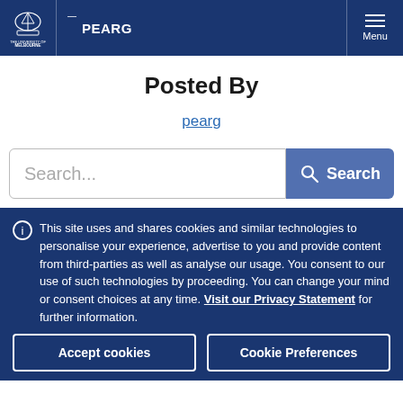PEARG — University of Melbourne | Menu
Posted By
pearg
Search...
This site uses and shares cookies and similar technologies to personalise your experience, advertise to you and provide content from third-parties as well as analyse our usage. You consent to our use of such technologies by proceeding. You can change your mind or consent choices at any time. Visit our Privacy Statement for further information.
Accept cookies
Cookie Preferences